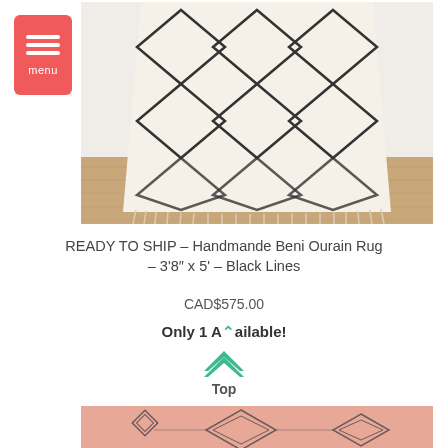[Figure (photo): White Beni Ourain rug with black diamond pattern, leaning against a white wall on a wooden floor]
READY TO SHIP – Handmande Beni Ourain Rug – 3'8″ x 5' – Black Lines
CAD$575.00
Only 1 Available!
Top
[Figure (photo): Pink/salmon Moroccan pillow or cushion with diamond geometric embroidery pattern]